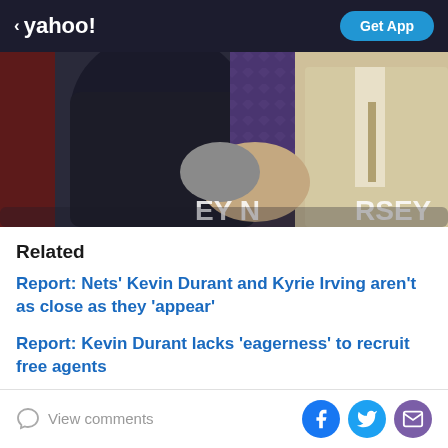< yahoo! | Get App
[Figure (photo): Two men shaking hands on stage, one in a dark suit and one in a cream/beige suit, with a partially visible jersey banner and purple backdrop in the background]
Related
Report: Nets' Kevin Durant and Kyrie Irving aren't as close as they 'appear'
Report: Kevin Durant lacks 'eagerness' to recruit free agents
View comments